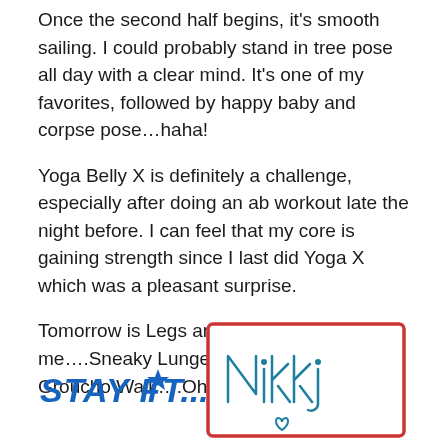Once the second half begins, it's smooth sailing. I could probably stand in tree pose all day with a clear mind. It's one of my favorites, followed by happy baby and corpse pose…haha!
Yoga Belly X is definitely a challenge, especially after doing an ab workout late the night before. I can feel that my core is gaining strength since I last did Yoga X which was a pleasant surprise.
Tomorrow is Legs and Back for me….Sneaky Lunges, Wall Squats and Groucho Walk….Oh My!
[Figure (illustration): Stay Fit... text in bold blue italic with a star, followed by a handwritten signature 'Nikki' with a small heart inside a red hand-drawn rectangle border]